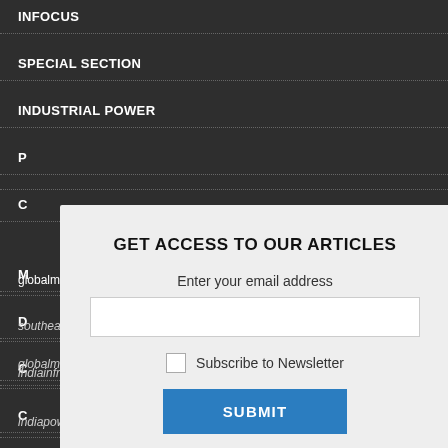INFOCUS
SPECIAL SECTION
INDUSTRIAL POWER
P…
C…
GET ACCESS TO OUR ARTICLES
Enter your email address
Subscribe to Newsletter
SUBMIT
M…
D…
C…
C…
R…
g…
globalmasstransit.net
southeastasiainfra.com
indiainframonitor.com
indiapowerregulation.com